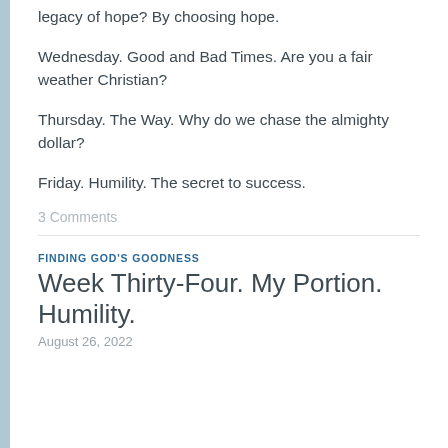legacy of hope? By choosing hope.
Wednesday. Good and Bad Times. Are you a fair weather Christian?
Thursday. The Way. Why do we chase the almighty dollar?
Friday. Humility. The secret to success.
3 Comments
FINDING GOD'S GOODNESS
Week Thirty-Four. My Portion. Humility.
August 26, 2022